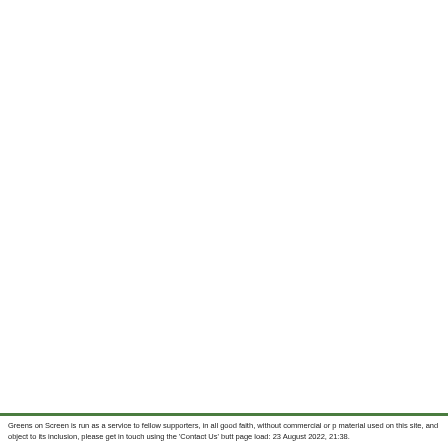Greens on Screen is run as a service to fellow supporters, in all good faith, without commercial or p material used on this site, and object to its inclusion, please get in touch using the 'Contact Us' butt page load: 23 August 2022, 21:38.